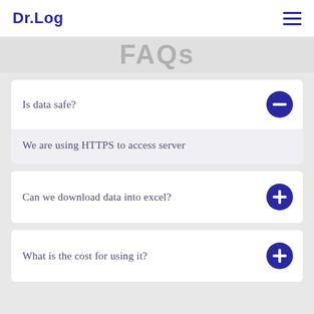Dr.Log
FAQs
Is data safe?
We are using HTTPS to access server
Can we download data into excel?
What is the cost for using it?